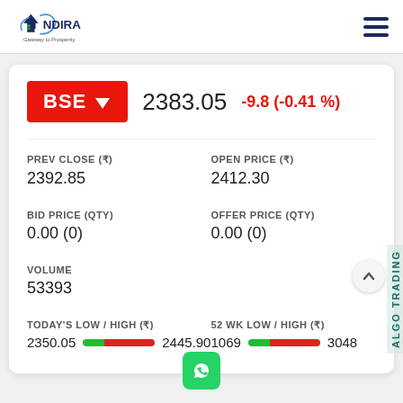[Figure (logo): Indira Securities logo with text 'NDIRA Gateway to Prosperity']
BSE ↓ 2383.05 -9.8 (-0.41 %)
| Field | Value |
| --- | --- |
| PREV CLOSE (₹) | 2392.85 |
| OPEN PRICE (₹) | 2412.30 |
| BID PRICE (QTY) | 0.00 (0) |
| OFFER PRICE (QTY) | 0.00 (0) |
| VOLUME | 53393 |
| TODAY'S LOW / HIGH (₹) | 2350.05 — 2445.90 |
| 52 WK LOW / HIGH (₹) | 1069 — 3048 |